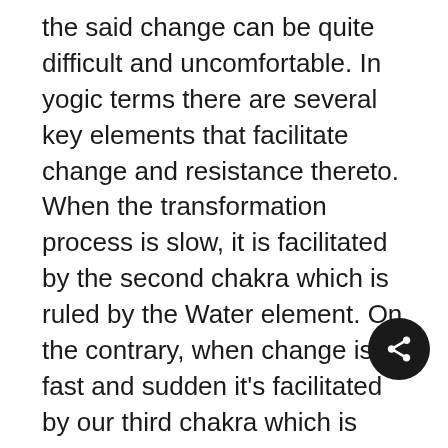the said change can be quite difficult and uncomfortable. In yogic terms there are several key elements that facilitate change and resistance thereto. When the transformation process is slow, it is facilitated by the second chakra which is ruled by the Water element. On the contrary, when change is fast and sudden it's facilitated by our third chakra which is ruled by the Fire element.
While both elements facilitate change at different speeds, the root of change apprehension lies in fear. Some areas of life do require more consistency and thus change is gradual and slow, while others